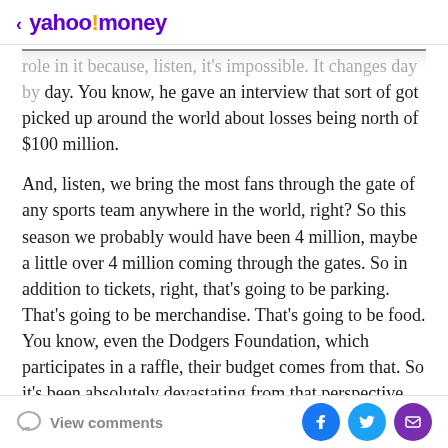< yahoo!money
role in it because, listen, it's impossible. It changes day by day. You know, he gave an interview that sort of got picked up around the world about losses being north of $100 million.
And, listen, we bring the most fans through the gate of any sports team anywhere in the world, right? So this season we probably would have been 4 million, maybe a little over 4 million coming through the gates. So in addition to tickets, right, that's going to be parking. That's going to be merchandise. That's going to be food. You know, even the Dodgers Foundation, which participates in a raffle, their budget comes from that. So it's been absolutely devastating from that perspective, from the
View comments